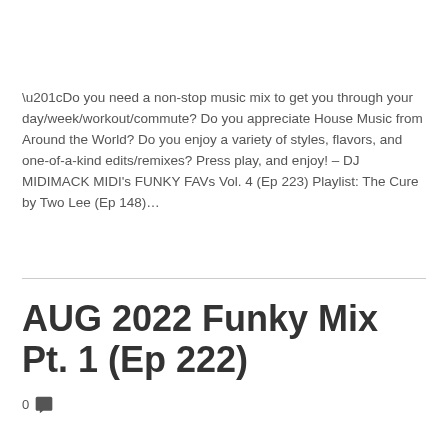“Do you need a non-stop music mix to get you through your day/week/workout/commute? Do you appreciate House Music from Around the World? Do you enjoy a variety of styles, flavors, and one-of-a-kind edits/remixes? Press play, and enjoy! – DJ MIDIMACK MIDI’s FUNKY FAVs Vol. 4 (Ep 223) Playlist: The Cure by Two Lee (Ep 148)…
AUG 2022 Funky Mix Pt. 1 (Ep 222)
0 💬